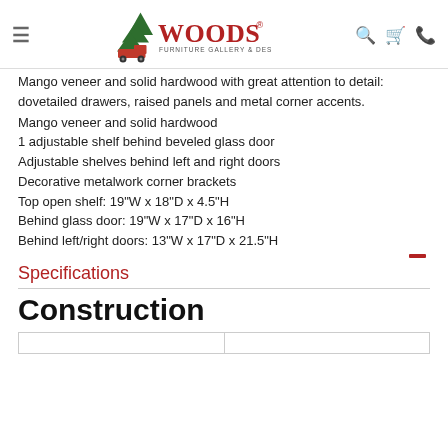Woods Furniture Gallery & Design
Mango veneer and solid hardwood with great attention to detail: dovetailed drawers, raised panels and metal corner accents.
Mango veneer and solid hardwood
1 adjustable shelf behind beveled glass door
Adjustable shelves behind left and right doors
Decorative metalwork corner brackets
Top open shelf: 19"W x 18"D x 4.5"H
Behind glass door: 19"W x 17"D x 16"H
Behind left/right doors: 13"W x 17"D x 21.5"H
Specifications
Construction
|  |  |